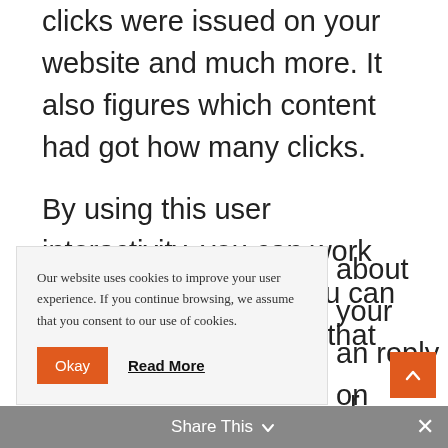clicks were issued on your website and much more. It also figures which content had got how many clicks.
By using this user interactivity, you can work with your contents. You can act on your strategies that would work for your website. To put simply, you can avoid making the blind
about your an reply on ou provided
[Figure (screenshot): Cookie consent banner overlay with text: 'Our website uses cookies to improve your user experience. If you continue browsing, we assume that you consent to our use of cookies.' with an orange 'Okay' button and a bold underlined 'Read More' link.]
r
marvelous feature which allows you to carry
[Figure (screenshot): Gray share bar at bottom with 'Share This' text and a chevron-down icon, and a white X close button on the right. Orange scroll-to-top button with upward chevron on bottom right.]